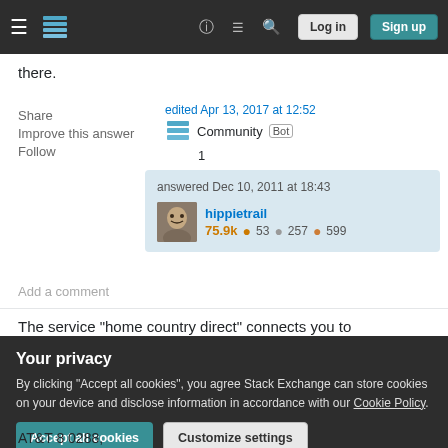Stack Exchange navigation bar with Log in and Sign up buttons
there.
Share
Improve this answer
Follow
edited Apr 13, 2017 at 12:52
Community Bot 1
answered Dec 10, 2011 at 18:43
hippietrail 75.9k 53 257 599
Add a comment
The service "home country direct" connects you to
Your privacy
By clicking "Accept all cookies", you agree Stack Exchange can store cookies on your device and disclose information in accordance with our Cookie Policy.
Accept all cookies
Customize settings
AT&T 8 0288,